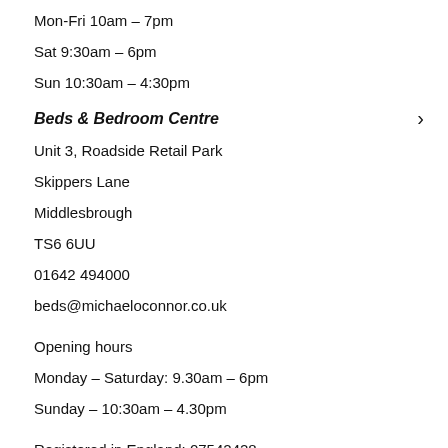Mon-Fri 10am - 7pm
Sat 9:30am - 6pm
Sun 10:30am - 4:30pm
Beds & Bedroom Centre
Unit 3, Roadside Retail Park
Skippers Lane
Middlesbrough
TS6 6UU
01642 494000
beds@michaeloconnor.co.uk
Opening hours
Monday - Saturday: 9.30am - 6pm
Sunday - 10:30am - 4.30pm
Registered in England: 07542428
VAT No: GB 183473881